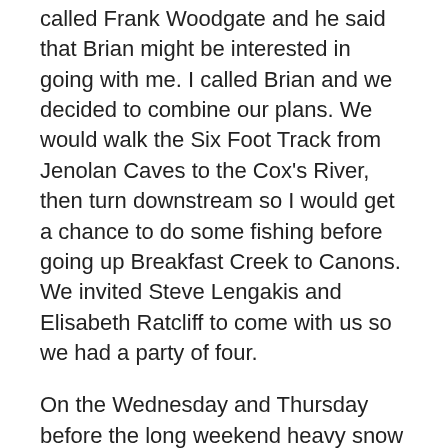called Frank Woodgate and he said that Brian might be interested in going with me. I called Brian and we decided to combine our plans. We would walk the Six Foot Track from Jenolan Caves to the Cox's River, then turn downstream so I would get a chance to do some fishing before going up Breakfast Creek to Canons. We invited Steve Lengakis and Elisabeth Ratcliff to come with us so we had a party of four.
On the Wednesday and Thursday before the long weekend heavy snow fell on the Blue Mountains and the Great Western Highway was closed by drifts at Blackheath. The leader of the Sutherland Club's walk learned that the Cox's River was in flood and promptly cancelled the walk. Maurie Bloom and Denise Shaw were two of the people disappointed by the cancellation and they called Steve and Elisabeth to see if they were interested in doing a walk. Elisabeth put them in contact with Brian and we had a party of six.
On arriving I also met to Cob and...